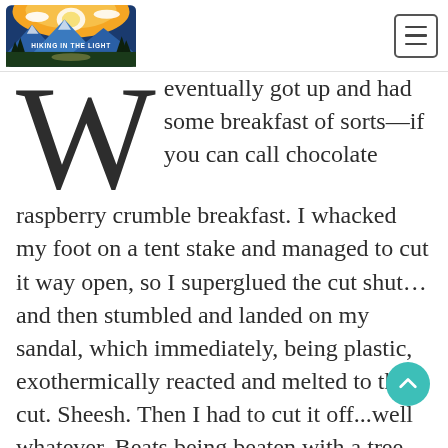HIKING IN THE LIGHT
W eventually got up and had some breakfast of sorts—if you can call chocolate raspberry crumble breakfast. I whacked my foot on a tent stake and managed to cut it way open, so I superglued the cut shut…and then stumbled and landed on my sandal, which immediately, being plastic, exothermically reacted and melted to the cut. Sheesh. Then I had to cut it off...well whatever. Beats being beaten with a tree.